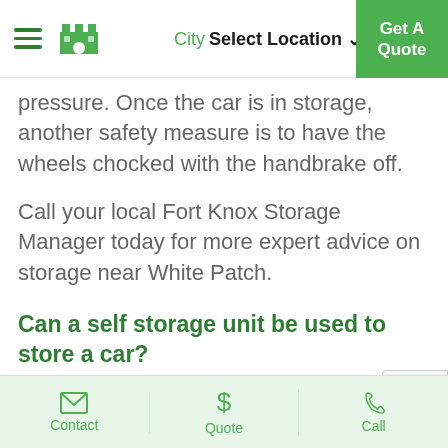City  Select Location  Get A Quote
pressure. Once the car is in storage, another safety measure is to have the wheels chocked with the handbrake off.
Call your local Fort Knox Storage Manager today for more expert advice on storage near White Patch.
Can a self storage unit be used to store a car?
Yes, cars and other vehicles such as
Contact   Quote   Call